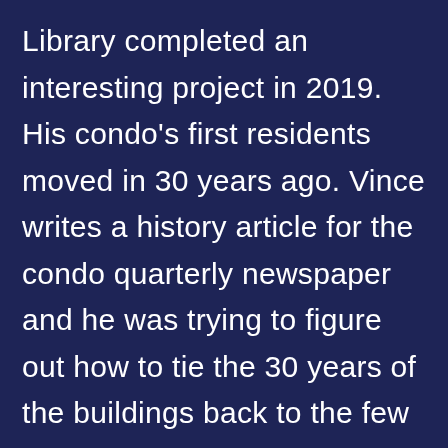Library completed an interesting project in 2019. His condo's first residents moved in 30 years ago. Vince writes a history article for the condo quarterly newspaper and he was trying to figure out how to tie the 30 years of the buildings back to the few original owners who still live there. He came across a 10-year old Downtown Association restaurant brochure and got an idea. Maybe he could figure out what storefronts [continues...]